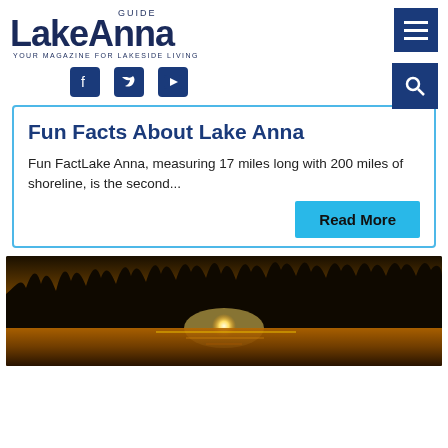LakeAnna GUIDE — YOUR MAGAZINE FOR LAKESIDE LIVING
Fun Facts About Lake Anna
Fun FactLake Anna, measuring 17 miles long with 200 miles of shoreline, is the second...
Read More
[Figure (photo): Sunset over Lake Anna with golden reflections on water and dark treeline silhouette]